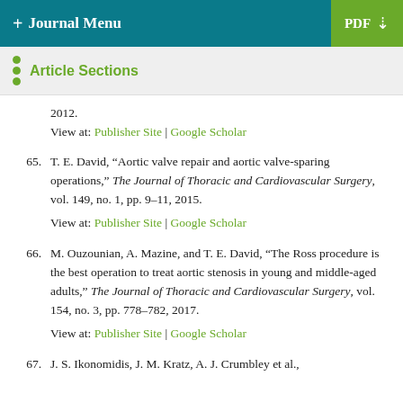+ Journal Menu | PDF
Article Sections
2012.
View at: Publisher Site | Google Scholar
65. T. E. David, “Aortic valve repair and aortic valve-sparing operations,” The Journal of Thoracic and Cardiovascular Surgery, vol. 149, no. 1, pp. 9–11, 2015.
View at: Publisher Site | Google Scholar
66. M. Ouzounian, A. Mazine, and T. E. David, “The Ross procedure is the best operation to treat aortic stenosis in young and middle-aged adults,” The Journal of Thoracic and Cardiovascular Surgery, vol. 154, no. 3, pp. 778–782, 2017.
View at: Publisher Site | Google Scholar
67. J. S. Ikonomidis, J. M. Kratz, A. J. Crumbley et al.,